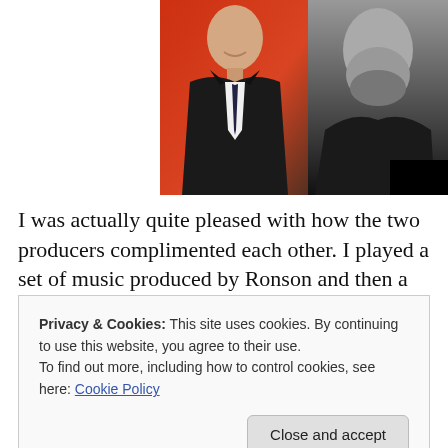[Figure (photo): Two men in dark suits. Left figure is in front of a red/orange background, smiling. Right figure is a black-and-white portrait with beard.]
I was actually quite pleased with how the two producers complimented each other. I played a set of music produced by Ronson and then a set produced by Auerbach and so on. All told, the hour of music was pretty
Privacy & Cookies: This site uses cookies. By continuing to use this website, you agree to their use.
To find out more, including how to control cookies, see here: Cookie Policy